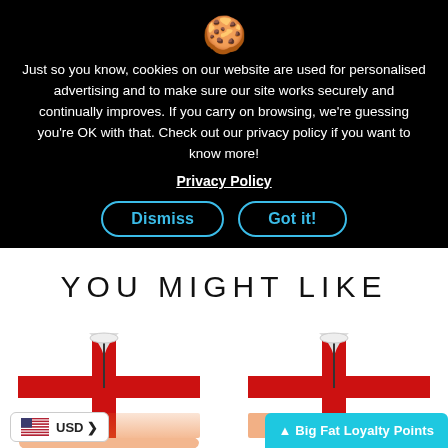[Figure (screenshot): Cookie emoji icon at top of cookie consent overlay]
Just so you know, cookies on our website are used for personalised advertising and to make sure our site works securely and continually improves. If you carry on browsing, we're guessing you're OK with that. Check out our privacy policy if you want to know more!
Privacy Policy
Dismiss
Got it!
YOU MIGHT LIKE
[Figure (photo): England cycling jersey - white with red cross and lion pattern, short sleeve, front view on mannequin]
[Figure (photo): England cycling jersey - white with red cross and lion pattern, short sleeve, slightly different angle on mannequin]
USD ▾
▲ Big Fat Loyalty Points